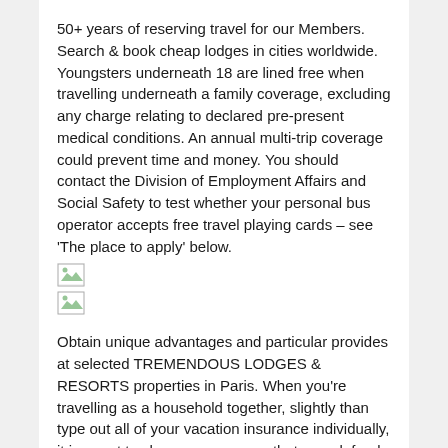50+ years of reserving travel for our Members. Search & book cheap lodges in cities worldwide. Youngsters underneath 18 are lined free when travelling underneath a family coverage, excluding any charge relating to declared pre-present medical conditions. An annual multi-trip coverage could prevent time and money. You should contact the Division of Employment Affairs and Social Safety to test whether your personal bus operator accepts free travel playing cards – see 'The place to apply' below.
[Figure (illustration): Broken image placeholder icon (small document/image icon)]
Obtain unique advantages and particular provides at selected TREMENDOUS LODGES & RESORTS properties in Paris. When you're travelling as a household together, slightly than type out all of your vacation insurance individually, it is smart to choose a coverage that may defend you all. Of course, this varies relying on where you are travelling and for the way lengthy, but if you get